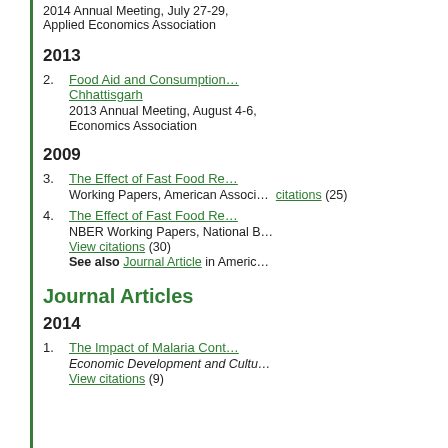2014 Annual Meeting, July 27-29, Applied Economics Association
2013
2. Food Aid and Consumption Chhattisgarh
2013 Annual Meeting, August 4-6,
Economics Association
2009
3. The Effect of Fast Food Re
Working Papers, American Associ... View citations (25)
4. The Effect of Fast Food Re
NBER Working Papers, National B... View citations (30)
See also Journal Article in Americ...
Journal Articles
2014
1. The Impact of Malaria Cont
Economic Development and Cultu...
View citations (9)